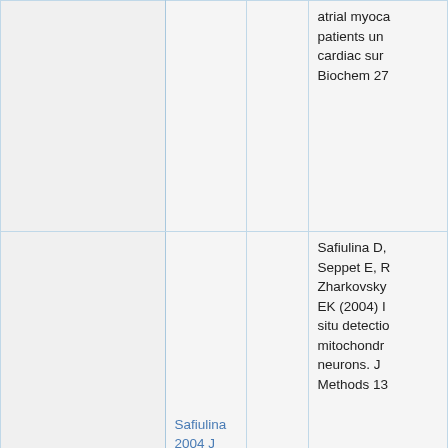|  |  |  | atrial myoca... patients un... cardiac sur... Biochem 27... |
|  | Safiulina 2004 J Neurosci Methods | 2004 | Safiulina D, Seppet E, R... Zharkovsky... EK (2004) I... situ detecti... mitochondr... neurons. J... Methods 13... |
|  |  |  | Seppet E, R... K, Ress M,... Gellerich FI... Trumbecka... Pronddzinsk... Werdan K,... Seppet EK... |